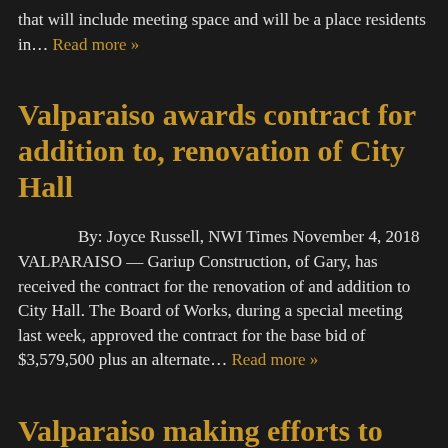that will include meeting space and will be a place residents in… Read more »
Valparaiso awards contract for addition to, renovation of City Hall
By: Joyce Russell, NWI Times November 4, 2018 VALPARAISO — Gariup Construction, of Gary, has received the contract for the renovation of and addition to City Hall. The Board of Works, during a special meeting last week, approved the contract for the base bid of $3,579,500 plus an alternate… Read more »
Valparaiso making efforts to connect all corners of city through